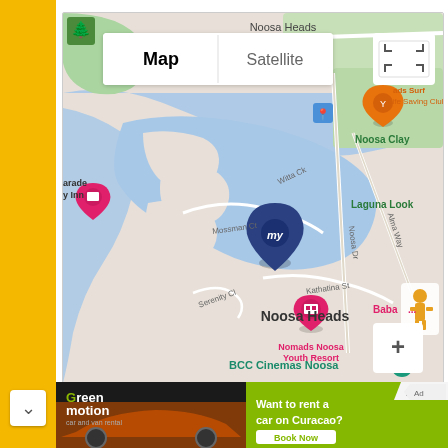[Figure (map): Google Maps view of Noosa Heads area showing Map/Satellite toggle buttons, location marker for 'my' property, nearby landmarks including Noosa Heads Surf Life Saving Club, Nomads Noosa Youth Resort, Laguna Look, Noosa Clay, BCC Cinemas Noosa, roads including Noosa Dr, Witta Ck, Mossman Ct, Kathatina St, Serenity Cl, Alma Way. Street View pegman icon visible in bottom right corner. Zoom in (+) button visible.]
[Figure (infographic): Advertisement banner: left side shows Green Motion car and van rental logo on dark background with car image; right side shows green background with text 'Want to rent a car on Curacao?' and 'Book Now' button. Sponsor/Ad indicator in top right.]